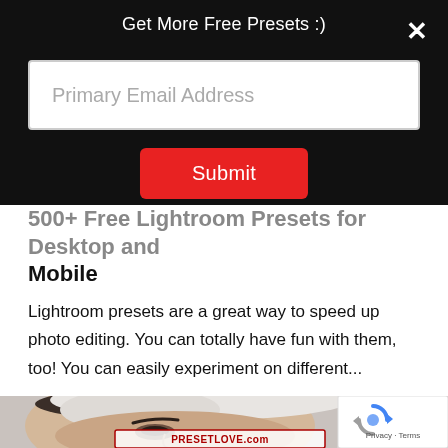Get More Free Presets :)
[Figure (screenshot): Email input field with placeholder text 'Primary Email Address']
[Figure (screenshot): Red Submit button]
500+ Free Lightroom Presets for Desktop and Mobile
Lightroom presets are a great way to speed up photo editing. You can totally have fun with them, too! You can easily experiment on different...
[Figure (photo): Woman with white towel wrapped around her head, close-up portrait photo, with PRESETLOVE.com watermark and reCAPTCHA badge]